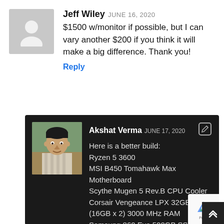[Figure (illustration): Grey placeholder avatar silhouette for Jeff Wiley]
Jeff Wiley JUNE 16, 2020
$1500 w/monitor if possible, but I can vary another $200 if you think it will make a big difference. Thank you!
Reply
[Figure (photo): Photo of Akshat Verma, man in striped shirt]
Akshat Verma JUNE 17, 2020
Here is a better build:
Ryzen 5 3600
MSI B450 Tomahawk Max Motherboard
Scythe Mugen 5 Rev.B CPU Cooler
Corsair Vengeance LPX 32GB (16GB x 2) 3000 MHz RAM
Samsung 860 Evo 500GB SSD
Seagate Barracuda 2TB HDD
Quadro P2000 Graphics Card